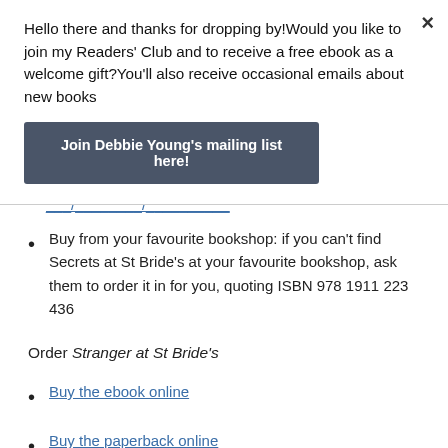Hello there and thanks for dropping by!Would you like to join my Readers' Club and to receive a free ebook as a welcome gift?You'll also receive occasional emails about new books
Join Debbie Young's mailing list here!
Buy from your favourite bookshop: if you can't find Secrets at St Bride's at your favourite bookshop, ask them to order it in for you, quoting ISBN 978 1911 223 436
Order Stranger at St Bride's
Buy the ebook online
Buy the paperback online
Order from your local bookshop, quoting ISBN 978-1-911223-597